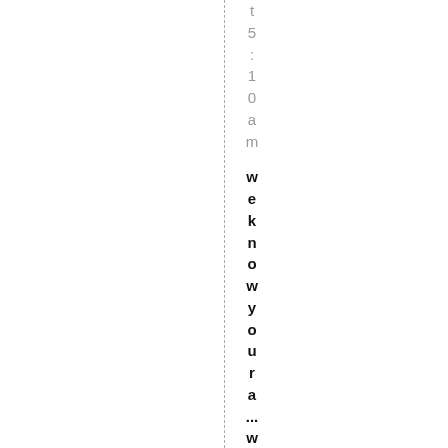t5:10am
weknowyoura...weknowyour